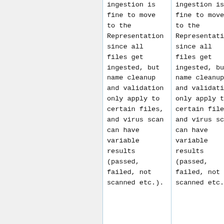| ingestion is fine to move to the Representation since all files get ingested, but name cleanup and validation only apply to certain files, and virus scan can have variable results (passed, failed, not scanned etc.). | ingestion is fine to move to the Representation since all files get ingested, but name cleanup and validation only apply to certain files, and virus scan can have variable results (passed, failed, not scanned etc.). |